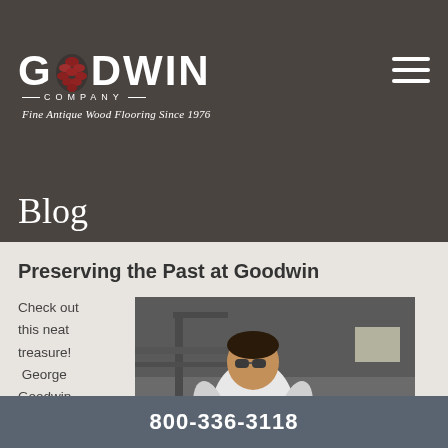Goodwin Company — Fine Antique Wood Flooring Since 1976
Blog
Preserving the Past at Goodwin
Check out this neat treasure! George Goodwin recently
[Figure (photo): Man in white t-shirt standing in a workshop holding a long wooden or metal antique object, industrial background with pipes and beams]
800-336-3118